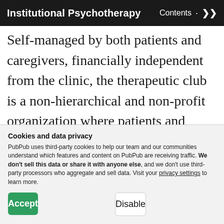Institutional Psychotherapy · Contents ↑
Self-managed by both patients and caregivers, financially independent from the clinic, the therapeutic club is a non-hierarchical and non-profit organization where patients and caregivers can mix and mingle daily. It is central to life at the clinic, as it sets up stimulating creative and professional activities for the entire
Cookies and data privacy

PubPub uses third-party cookies to help our team and our communities understand which features and content on PubPub are receiving traffic. We don't sell this data or share it with anyone else, and we don't use third-party processors who aggregate and sell data. Visit your privacy settings to learn more.

[Accept] [Disable]